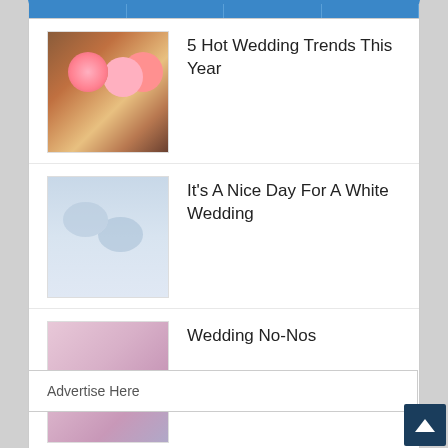5 Hot Wedding Trends This Year
It's A Nice Day For A White Wedding
Wedding No-Nos
Celebrities – Perhaps Not The Best Role Models
Advertise Here